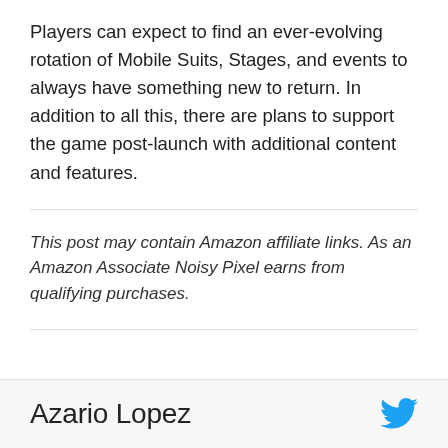Players can expect to find an ever-evolving rotation of Mobile Suits, Stages, and events to always have something new to return. In addition to all this, there are plans to support the game post-launch with additional content and features.
This post may contain Amazon affiliate links. As an Amazon Associate Noisy Pixel earns from qualifying purchases.
Azario Lopez